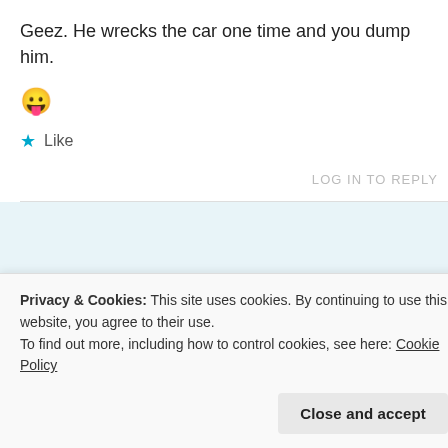Geez. He wrecks the car one time and you dump him.
[Figure (other): Tongue-out smiley emoji 😛]
★ Like
LOG IN TO REPLY
[Figure (logo): DuckDuckGo advertisement banner with duck logo on dark background with orange sides]
Privacy & Cookies: This site uses cookies. By continuing to use this website, you agree to their use.
To find out more, including how to control cookies, see here: Cookie Policy
Close and accept